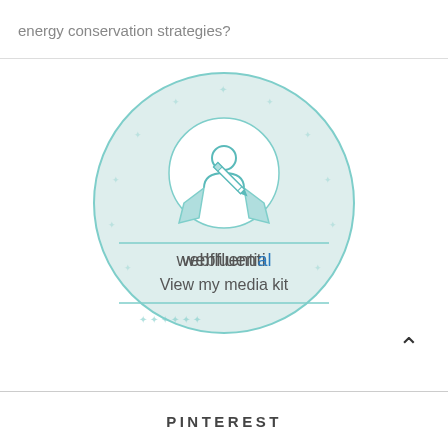energy conservation strategies?
[Figure (logo): Webfluential badge/logo with a circular teal border decorated with stars, containing an award ribbon icon with a person silhouette and a pencil. Below the illustration the text 'webfluential' and 'View my media kit' are shown inside the circle.]
PINTEREST